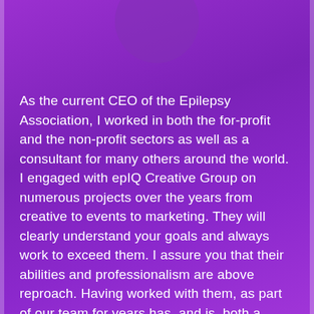[Figure (illustration): Decorative circular shape at top center of purple gradient background]
As the current CEO of the Epilepsy Association, I worked in both the for-profit and the non-profit sectors as well as a consultant for many others around the world. I engaged with epIQ Creative Group on numerous projects over the years from creative to events to marketing. They will clearly understand your goals and always work to exceed them. I assure you that their abilities and professionalism are above reproach. Having worked with them, as part of our team for years has, and is, both a learning, enjoyable and rewarding experience. They are always there at a moment's notice if needed and they will work far beyond your expectations.